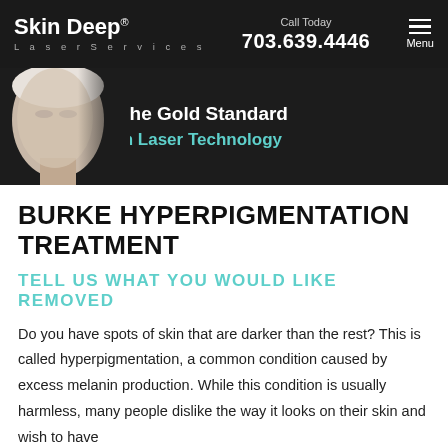Skin Deep® LaserServices | Call Today 703.639.4446 | Menu
[Figure (photo): Hero banner with woman's face on left against dark background, text 'The Gold Standard In Laser Technology' on right]
BURKE HYPERPIGMENTATION TREATMENT
TELL US WHAT YOU WOULD LIKE REMOVED
Do you have spots of skin that are darker than the rest? This is called hyperpigmentation, a common condition caused by excess melanin production. While this condition is usually harmless, many people dislike the way it looks on their skin and wish to have